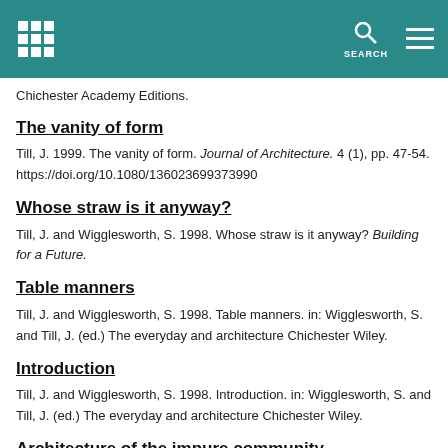SEARCH
Chichester Academy Editions.
The vanity of form
Till, J. 1999. The vanity of form. Journal of Architecture. 4 (1), pp. 47-54. https://doi.org/10.1080/136023699373990
Whose straw is it anyway?
Till, J. and Wigglesworth, S. 1998. Whose straw is it anyway? Building for a Future.
Table manners
Till, J. and Wigglesworth, S. 1998. Table manners. in: Wigglesworth, S. and Till, J. (ed.) The everyday and architecture Chichester Wiley.
Introduction
Till, J. and Wigglesworth, S. 1998. Introduction. in: Wigglesworth, S. and Till, J. (ed.) The everyday and architecture Chichester Wiley.
Architecture of the impure community